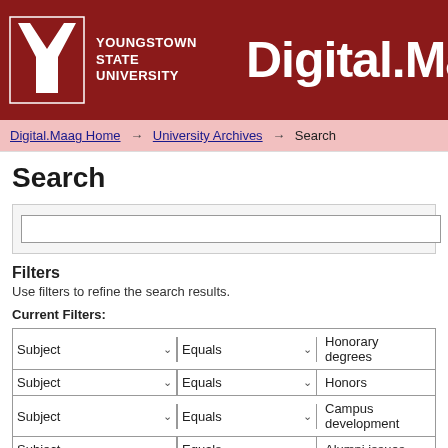[Figure (logo): Youngstown State University logo with Y letter mark in red and white, beside text 'YOUNGSTOWN STATE UNIVERSITY' and 'Digital.Maa' banner on dark red background]
Digital.Maag Home → University Archives → Search
Search
Filters
Use filters to refine the search results.
Current Filters:
| Field | Operator | Value |
| --- | --- | --- |
| Subject | Equals | Honorary degrees |
| Subject | Equals | Honors |
| Subject | Equals | Campus development |
| Subject | Equals | Alumni issues |
| Date issued | Equals | 2005 |
| Has File(s) | Equals | true |